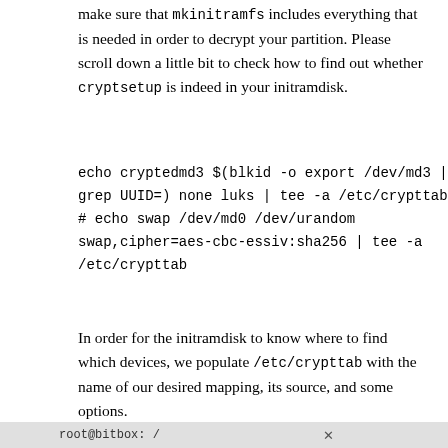make sure that mkinitramfs includes everything that is needed in order to decrypt your partition. Please scroll down a little bit to check how to find out whether cryptsetup is indeed in your initramdisk.
echo cryptedmd3 $(blkid -o export /dev/md3 | grep UUID=) none luks | tee -a /etc/crypttab
# echo swap /dev/md0 /dev/urandom swap,cipher=aes-cbc-essiv:sha256 | tee -a /etc/crypttab
In order for the initramdisk to know where to find which devices, we populate /etc/crypttab with the name of our desired mapping, its source, and some options.
root@bitbox: /